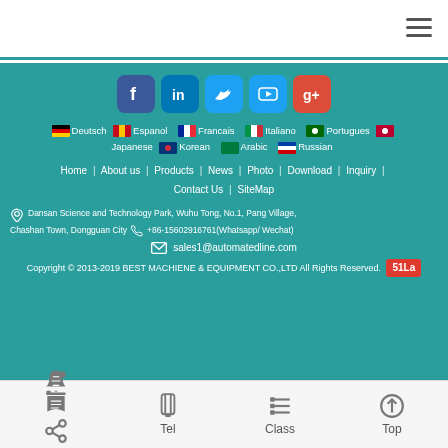Navigation header with hamburger menu
[Figure (other): Social media icons: Facebook, LinkedIn, Twitter, YouTube, Google+]
Deutsch | Espanol | Francais | Italiano | Portugues | Japanese | Korean | Arabic | Russian
Home | About us | Products | News | Photo | Download | Inquiry | Contact Us | SiteMap
Dansan Science and Technology Park, Wuhu Tong, No.1, Pang Village, Chashan Town, Dongguan City  +86-15602916761(Whatsapp/ Wechat)
sales1@automatedline.com
Copyright © 2013-2019 BEST MACHIENE & EQUIPMENT CO.,LTD All Rights Reserved. 51La
Share | Tel | Class | Top